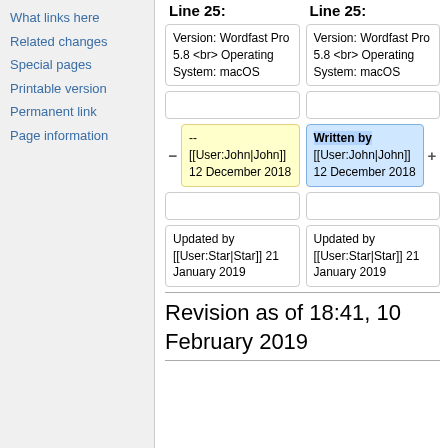What links here
Related changes
Special pages
Printable version
Permanent link
Page information
Line 25: / Line 25: (diff headers)
Version: Wordfast Pro 5.8 <br> Operating System: macOS (both columns)
-- [[User:John|John]] 12 December 2018 (left, yellow) | Written by [[User:John|John]] 12 December 2018 (right, blue)
Updated by [[User:Star|Star]] 21 January 2019 (both columns)
Revision as of 18:41, 10 February 2019